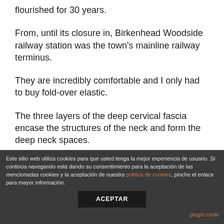flourished for 30 years.
From, until its closure in, Birkenhead Woodside railway station was the town’s mainline railway terminus.
They are incredibly comfortable and I only had to buy fold-over elastic.
The three layers of the deep cervical fascia encase the structures of the neck and form the deep neck spaces.
There is preferably the step of transmitting
Este sitio web utiliza cookies para que usted tenga la mejor experiencia de usuario. Si continúa navegando está dando su consentimiento para la aceptación de las mencionadas cookies y la aceptación de nuestra politica de cookies, pinche el enlace para mayor información.
ACEPTAR
plugin cooki